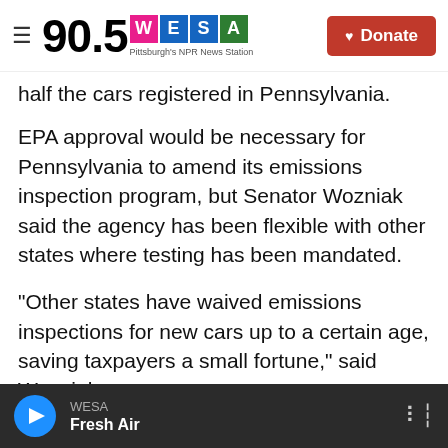90.5 WESA — Pittsburgh's NPR News Station | Donate
half the cars registered in Pennsylvania.
EPA approval would be necessary for Pennsylvania to amend its emissions inspection program, but Senator Wozniak said the agency has been flexible with other states where testing has been mandated.
"Other states have waived emissions inspections for new cars up to a certain age, saving taxpayers a small fortune," said Wozniak.
Senate Bill 1532 has been passed by the Senate Transportation Committee and is now pending
WESA | Fresh Air